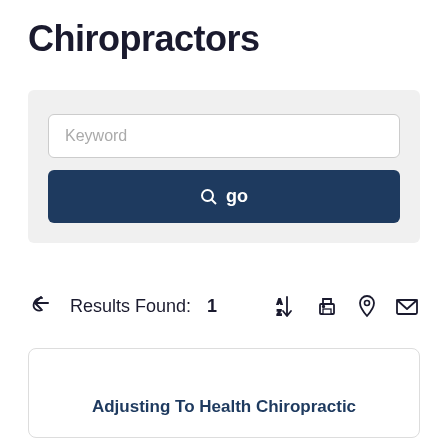Chiropractors
[Figure (screenshot): Search interface with a keyword input field and a dark navy 'go' button]
Results Found: 1
Adjusting To Health Chiropractic